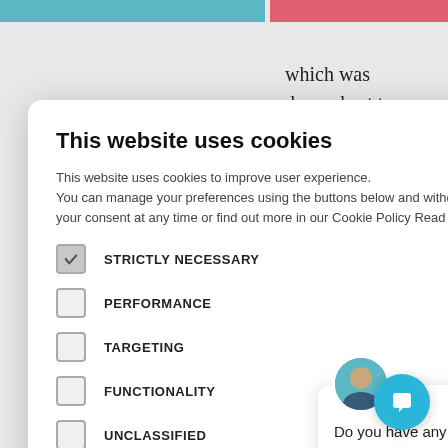[Figure (screenshot): Background webpage with teal and pink color bars at top and partial article text visible behind cookie modal]
[Figure (screenshot): Cookie consent modal dialog with title 'This website uses cookies', body text about cookie preferences, checkboxes for STRICTLY NECESSARY, PERFORMANCE, TARGETING, FUNCTIONALITY, UNCLASSIFIED, ACCEPT ALL and DECLINE ALL buttons]
[Figure (screenshot): Chat popup widget with avatar, close button, and text 'Do you have any questions? I'm happy to help.' and a blue chat button in the bottom right corner]